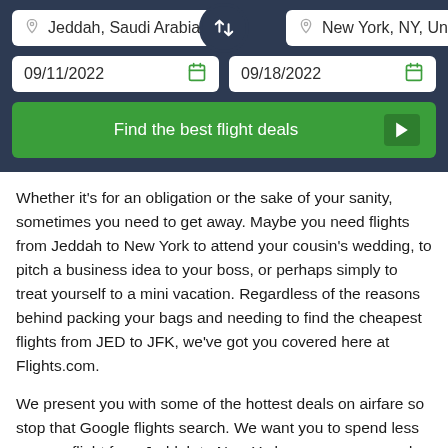[Figure (screenshot): Flight search UI panel with origin 'Jeddah, Saudi Arabia (J', destination 'New York, NY, United S', departure date '09/11/2022', return date '09/18/2022', and a green 'Find the best flight deals' button with a swap icon between origin and destination.]
Whether it's for an obligation or the sake of your sanity, sometimes you need to get away. Maybe you need flights from Jeddah to New York to attend your cousin's wedding, to pitch a business idea to your boss, or perhaps simply to treat yourself to a mini vacation. Regardless of the reasons behind packing your bags and needing to find the cheapest flights from JED to JFK, we've got you covered here at Flights.com.
We present you with some of the hottest deals on airfare so stop that Google flights search. We want you to spend less on your flight from Jeddah to New York, so you can spend more during your getaway.